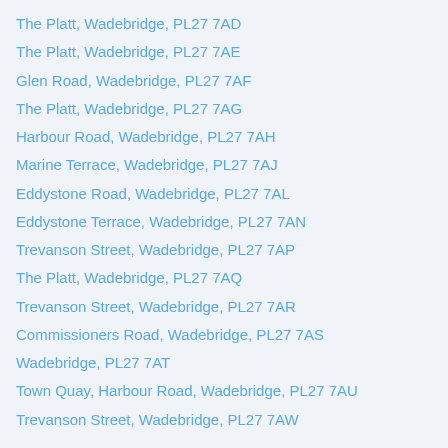The Platt, Wadebridge, PL27 7AD
The Platt, Wadebridge, PL27 7AE
Glen Road, Wadebridge, PL27 7AF
The Platt, Wadebridge, PL27 7AG
Harbour Road, Wadebridge, PL27 7AH
Marine Terrace, Wadebridge, PL27 7AJ
Eddystone Road, Wadebridge, PL27 7AL
Eddystone Terrace, Wadebridge, PL27 7AN
Trevanson Street, Wadebridge, PL27 7AP
The Platt, Wadebridge, PL27 7AQ
Trevanson Street, Wadebridge, PL27 7AR
Commissioners Road, Wadebridge, PL27 7AS
Wadebridge, PL27 7AT
Town Quay, Harbour Road, Wadebridge, PL27 7AU
Trevanson Street, Wadebridge, PL27 7AW